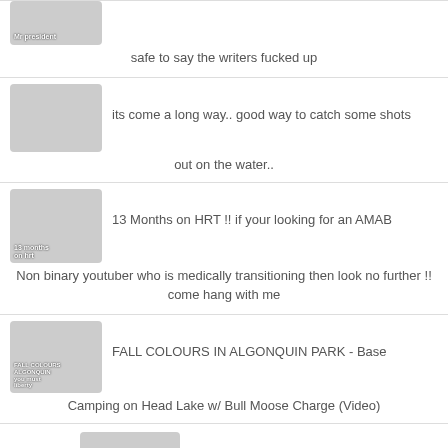safe to say the writers fucked up
its come a long way.. good way to catch some shots out on the water..
13 Months on HRT !! if your looking for an AMAB Non binary youtuber who is medically transitioning then look no further !! come hang with me
FALL COLOURS IN ALGONQUIN PARK - Base Camping on Head Lake w/ Bull Moose Charge (Video)
babe pls stfu